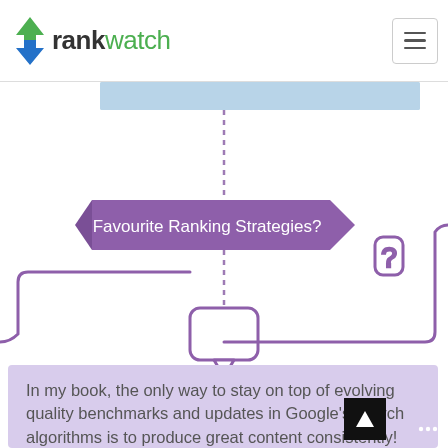RankWatch
[Figure (infographic): Flowchart infographic with purple question banner 'Favourite Ranking Strategies?' connected by dashed lines to a speech bubble icon and a lavender content box below. A hand holding a question mark appears to the right of the banner. Purple rounded branch line extends from left.]
In my book, the only way to stay on top of evolving quality benchmarks and updates in Google's search algorithms is to produce great content consistently! That's it. Create a solid content strategy, hire a talented content marketing partner, and just go out there and execute. Don't fo... to learn along the way. There are a wh... bunch of tweaks and techniques to